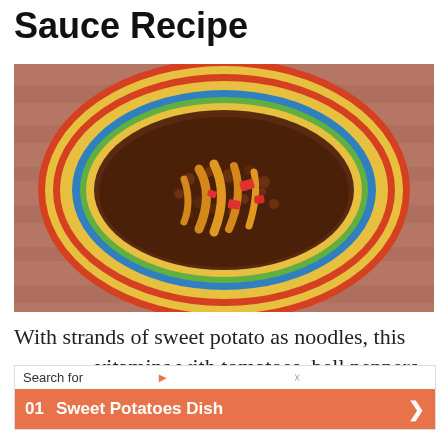Sauce Recipe
[Figure (photo): Overhead view of a colorful decorative bowl containing a meat-based sauce with sweet potato noodles, red bell pepper pieces, and tortilla strips on a red/brown cloth background.]
With strands of sweet potato as noodles, this vitamins with tomatoes, bell peppers and
[Figure (screenshot): Advertisement overlay showing a search bar with 'Search for' text, a play/arrow icon and X button, and an orange result item reading '01 Sweet Potatoes Dish' with a right arrow chevron.]